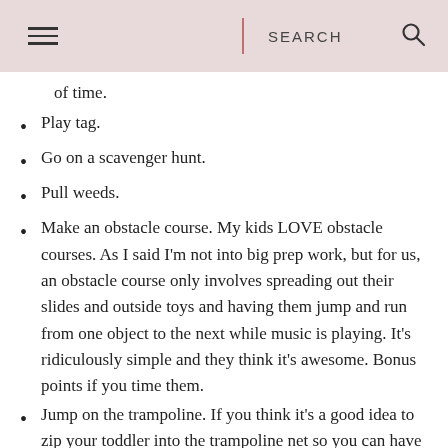SEARCH
of time.
Play tag.
Go on a scavenger hunt.
Pull weeds.
Make an obstacle course. My kids LOVE obstacle courses. As I said I'm not into big prep work, but for us, an obstacle course only involves spreading out their slides and outside toys and having them jump and run from one object to the next while music is playing. It's ridiculously simple and they think it's awesome. Bonus points if you time them.
Jump on the trampoline. If you think it's a good idea to zip your toddler into the trampoline net so you can have a moment to focus on the garden… not that I've done this… let me warn